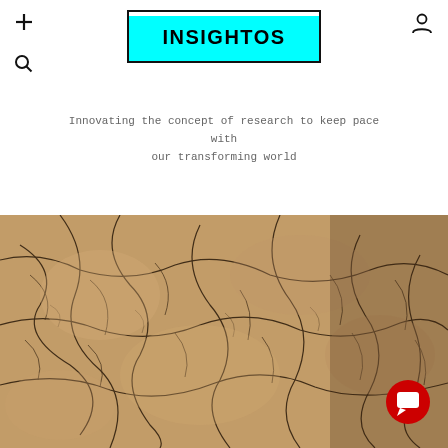+ [search icon] [user icon]
INSIGHTOS
Innovating the concept of research to keep pace with our transforming world
[Figure (photo): Close-up macro photograph of cracked, textured earth or dried mud surface with dark fracture lines on a tan/beige background, resembling a microscopic or aerial view of parched ground.]